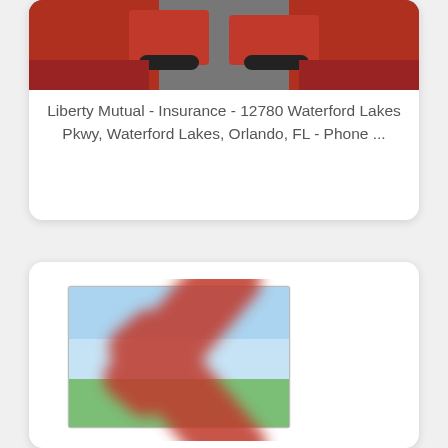[Figure (photo): Top portion of a search result card showing a partially visible photo of cars with red coloring at the top, clipped at top edge]
Liberty Mutual - Insurance - 12780 Waterford Lakes Pkwy, Waterford Lakes, Orlando, FL - Phone ...
[Figure (illustration): A broken/missing image placeholder icon — a framed image with a light blue and green landscape thumbnail overlaid with a large blurred red X mark indicating a broken or removed image]